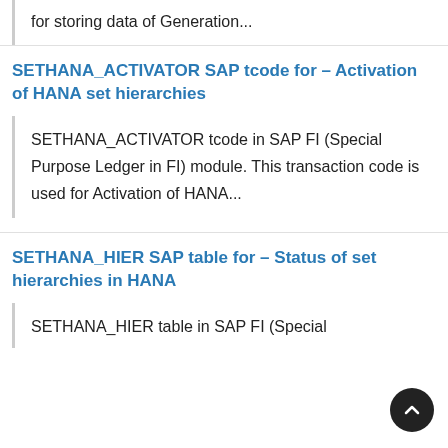for storing data of Generation...
SETHANA_ACTIVATOR SAP tcode for – Activation of HANA set hierarchies
SETHANA_ACTIVATOR tcode in SAP FI (Special Purpose Ledger in FI) module. This transaction code is used for Activation of HANA...
SETHANA_HIER SAP table for – Status of set hierarchies in HANA
SETHANA_HIER table in SAP FI (Special